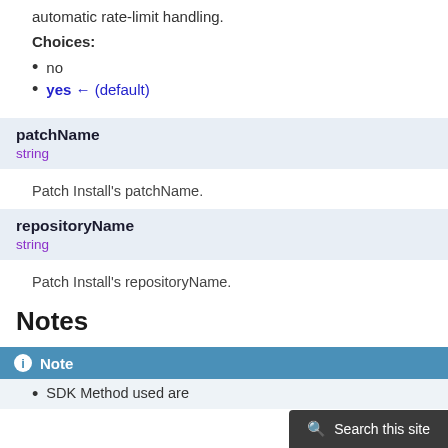automatic rate-limit handling.
Choices:
no
yes ← (default)
patchName
string
Patch Install's patchName.
repositoryName
string
Patch Install's repositoryName.
Notes
Note
SDK Method used are